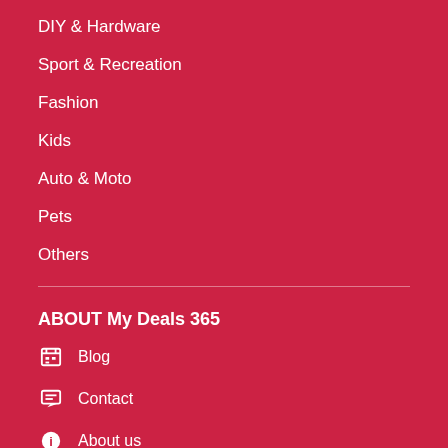DIY & Hardware
Sport & Recreation
Fashion
Kids
Auto & Moto
Pets
Others
ABOUT My Deals 365
Blog
Contact
About us
Cookie Policy